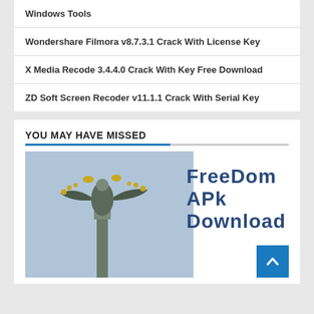Windows Tools
Wondershare Filmora v8.7.3.1 Crack With License Key
X Media Recode 3.4.4.0 Crack With Key Free Download
ZD Soft Screen Recoder v11.1.1 Crack With Serial Key
YOU MAY HAVE MISSED
[Figure (photo): Screenshot of a webpage showing a statue/angel figure on the left and 'FreeDom APK Download' text on the right, with a blue back-to-top button in the bottom right corner.]